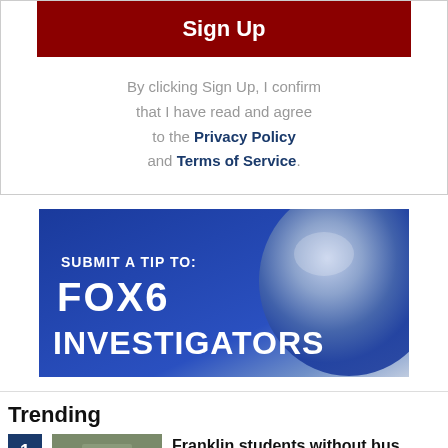Sign Up
By clicking Sign Up, I confirm that I have read and agree to the Privacy Policy and Terms of Service.
[Figure (screenshot): FOX6 Investigators ad banner with blue globe background. Text reads: SUBMIT A TIP TO: FOX6 INVESTIGATORS]
Trending
Franklin students without bus rides on 1st day of school